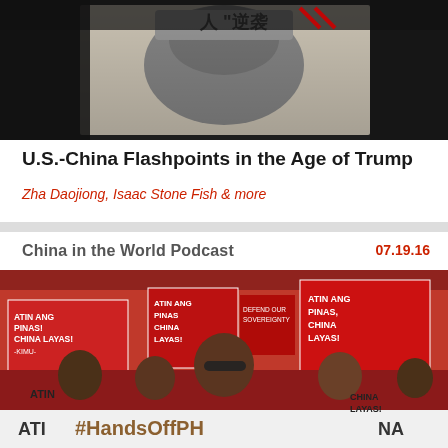[Figure (photo): Person reading a newspaper or magazine with a black-and-white photo of a face (resembling Donald Trump) on the cover, with Chinese characters visible]
U.S.-China Flashpoints in the Age of Trump
Zha Daojiong, Isaac Stone Fish & more
China in the World Podcast
07.19.16
[Figure (photo): Protest scene with people holding red signs reading 'ATIN ANG PINAS! CHINA LAYAS!' and a banner reading '#HandsOffPH'. A woman in sunglasses is prominent in the foreground.]